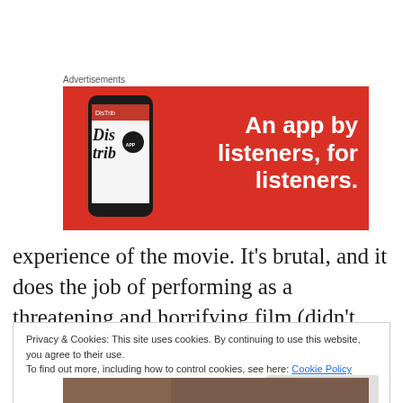Advertisements
[Figure (illustration): Red advertisement banner for a music/podcast app called 'Distrib' with the text 'An app by listeners, for listeners.' on the right side, and a phone mockup on the left side showing the app interface.]
experience of the movie. It's brutal, and it does the job of performing as a threatening and horrifying film (didn't scare me much, but all the same, the lights were on).
Privacy & Cookies: This site uses cookies. By continuing to use this website, you agree to their use.
To find out more, including how to control cookies, see here: Cookie Policy
Close and accept